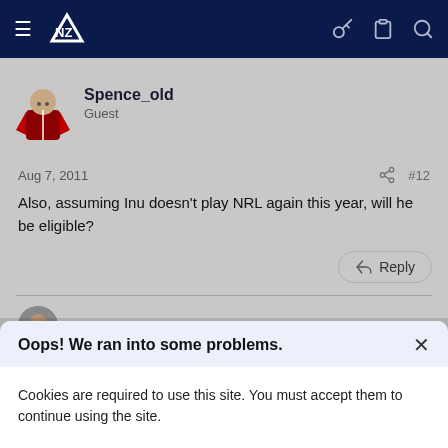Navigation bar with logo and icons
Spence_old
Guest
Aug 7, 2011  #12
Also, assuming Inu doesn't play NRL again this year, will he be eligible?
Reply
Eccawarrior_old
Oops! We ran into some problems.
Cookies are required to use this site. You must accept them to continue using the site.